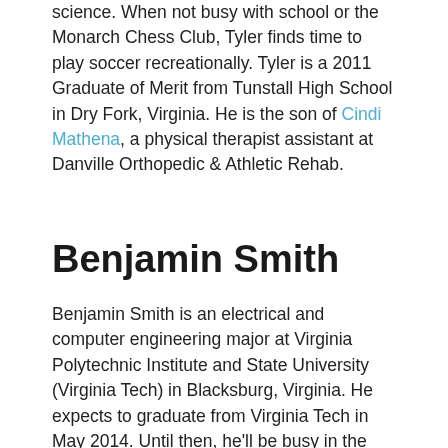science.  When not busy with school or the Monarch Chess Club, Tyler finds time to play soccer recreationally. Tyler is a 2011 Graduate of Merit from Tunstall High School in Dry Fork, Virginia.  He is the son of Cindi Mathena, a physical therapist assistant at Danville Orthopedic & Athletic Rehab.
Benjamin Smith
Benjamin Smith is an electrical and computer engineering major at Virginia Polytechnic Institute and State University (Virginia Tech) in Blacksburg, Virginia. He expects to graduate from Virginia Tech in May 2014.  Until then, he'll be busy in the classroom (he's been on the Dean's List since Fall 2010) and